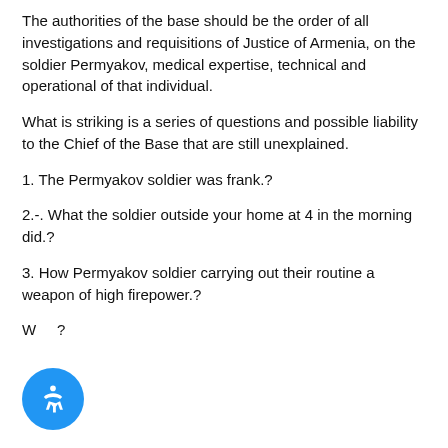The authorities of the base should be the order of all investigations and requisitions of Justice of Armenia, on the soldier Permyakov, medical expertise, technical and operational of that individual.
What is striking is a series of questions and possible liability to the Chief of the Base that are still unexplained.
1. The Permyakov soldier was frank.?
2.-. What the soldier outside your home at 4 in the morning did.?
3. How Permyakov soldier carrying out their routine a weapon of high firepower.?
W...?